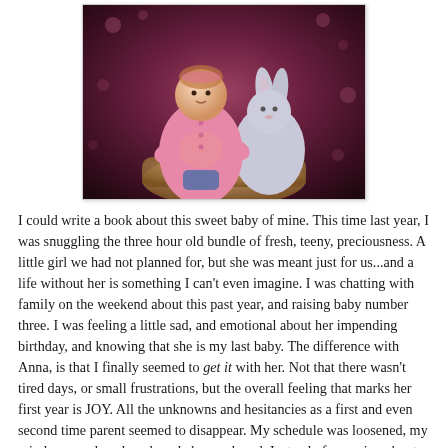[Figure (photo): A young toddler in a pink cardigan and yellow shirt holding a gray stuffed bunny rabbit, seated in a wicker basket against a dark floral/bokeh background.]
I could write a book about this sweet baby of mine. This time last year, I was snuggling the three hour old bundle of fresh, teeny, preciousness. A little girl we had not planned for, but she was meant just for us...and a life without her is something I can't even imagine. I was chatting with family on the weekend about this past year, and raising baby number three. I was feeling a little sad, and emotional about her impending birthday, and knowing that she is my last baby. The difference with Anna, is that I finally seemed to get it with her. Not that there wasn't tired days, or small frustrations, but the overall feeling that marks her first year is JOY. All the unknowns and hesitancies as a first and even second time parent seemed to disappear. My schedule was loosened, my mind more relaxed, and my baby...so loved. Instead of worrying about timing, and feedings and all the details, I was free to enjoy...and I SO enjoyed this year. The